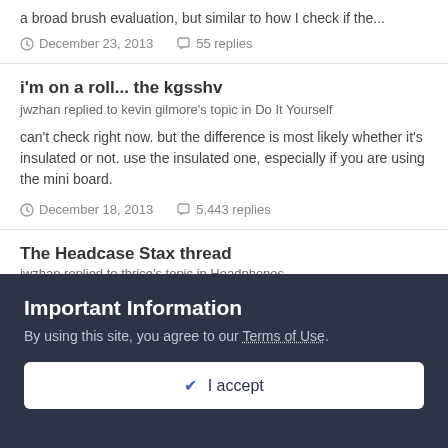a broad brush evaluation, but similar to how I check if the...
December 23, 2013   55 replies
i'm on a roll... the kgsshv
jwzhan replied to kevin gilmore's topic in Do It Yourself
can't check right now. but the difference is most likely whether it's insulated or not. use the insulated one, especially if you are using the mini board.
December 18, 2013   5,443 replies
The Headcase Stax thread
jwzhan replied to thrice's topic in Headphones
Important Information
By using this site, you agree to our Terms of Use.
✔ I accept